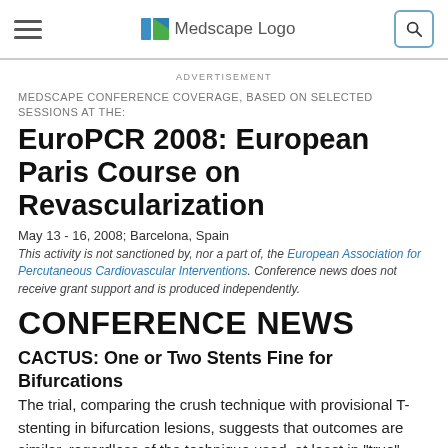Medscape Logo
ADVERTISEMENT
MEDSCAPE CONFERENCE COVERAGE, BASED ON SELECTED SESSIONS AT THE:
EuroPCR 2008: European Paris Course on Revascularization
May 13 - 16, 2008; Barcelona, Spain
This activity is not sanctioned by, nor a part of, the European Association for Percutaneous Cardiovascular Interventions. Conference news does not receive grant support and is produced independently.
CONFERENCE NEWS
CACTUS: One or Two Stents Fine for Bifurcations
The trial, comparing the crush technique with provisional T-stenting in bifurcation lesions, suggests that outcomes are similar, regardless of the technique used, at least in "true" bifurcation lesions where both the main vessel and